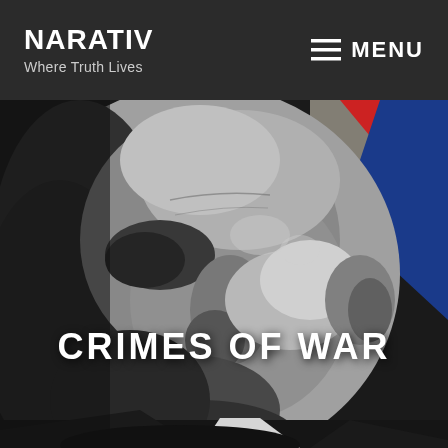NARATIV — Where Truth Lives | MENU
[Figure (photo): Black and white close-up photo of a man's face (side/three-quarter view) with a colorful flag (red and blue triangle shapes) visible in the background upper right. The overall image has a dark, high-contrast editorial look.]
CRIMES OF WAR